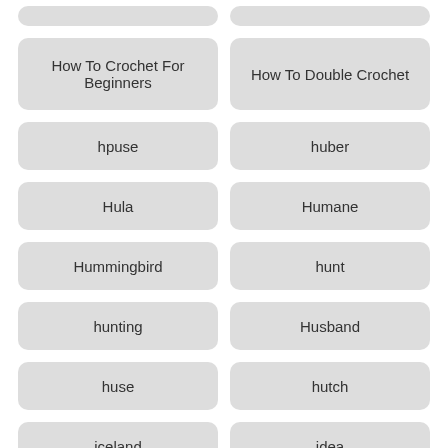How To Crochet For Beginners
How To Double Crochet
hpuse
huber
Hula
Humane
Hummingbird
hunt
hunting
Husband
huse
hutch
iceland
idea
ideas
ikea
image
images